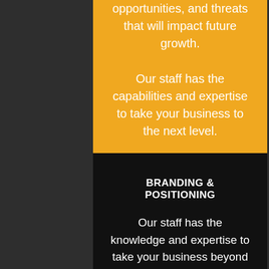opportunities, and threats that will impact future growth.
Our staff has the capabilities and expertise to take your business to the next level.
BRANDING & POSITIONING
Our staff has the knowledge and expertise to take your business beyond your vision. At P.S. Renee, LLC, we combine our years of experience along with our knowledge of branding